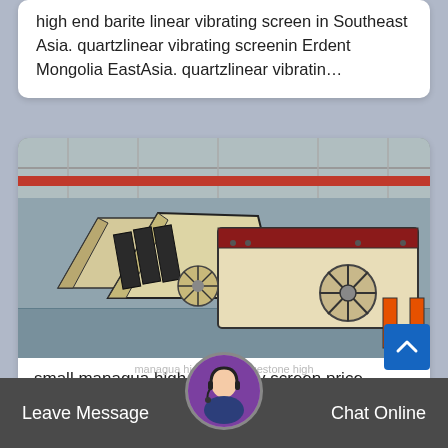high end barite linear vibrating screen in Southeast Asia. quartzlinear vibrating screenin Erdent Mongolia EastAsia. quartzlinear vibratin…
[Figure (photo): Industrial linear vibrating screen machinery in a factory/warehouse setting. Multiple large cream/beige colored vibrating screen units with black components are lined up on the factory floor. Visible fan/exciter motors, metal frames, and red overhead crane in background.]
small managua high frequency screen price
managua high quality bluestone high
Leave Message
Chat Online